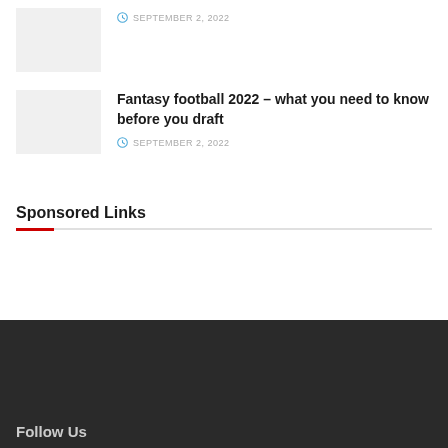[Figure (photo): Thumbnail image placeholder (light gray rectangle) at top of page]
SEPTEMBER 2, 2022
[Figure (photo): Thumbnail image placeholder (light gray rectangle) for Fantasy football article]
Fantasy football 2022 – what you need to know before you draft
SEPTEMBER 2, 2022
Sponsored Links
Follow Us